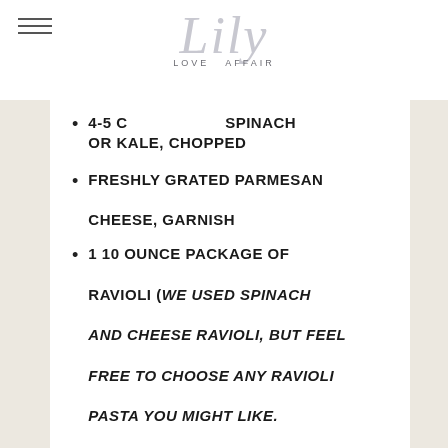Lily Love Affair
4-5 CUPS SPINACH OR KALE, CHOPPED
FRESHLY GRATED PARMESAN CHEESE, GARNISH
1 10 OUNCE PACKAGE OF RAVIOLI (WE USED SPINACH AND CHEESE RAVIOLI, BUT FEEL FREE TO CHOOSE ANY RAVIOLI PASTA YOU MIGHT LIKE. CHEESE TORTELLINI IS ALSO